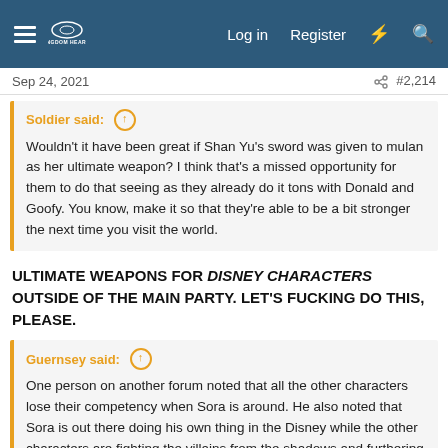Navigation bar with hamburger menu, logo, Log in, Register, and search icons
Sep 24, 2021  #2,214
Soldier said: ↑
Wouldn't it have been great if Shan Yu's sword was given to mulan as her ultimate weapon? I think that's a missed opportunity for them to do that seeing as they already do it tons with Donald and Goofy. You know, make it so that they're able to be a bit stronger the next time you visit the world.
ULTIMATE WEAPONS FOR DISNEY CHARACTERS OUTSIDE OF THE MAIN PARTY. LET'S FUCKING DO THIS, PLEASE.
Guernsey said: ↑
One person on another forum noted that all the other characters lose their competency when Sora is around. He also noted that Sora is out there doing his own thing in the Disney while the other characters are fighting the villains from the shadows and furthering the story until the endpoint.